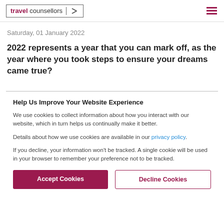travel counsellors [logo with arrow]
Saturday, 01 January 2022
2022 represents a year that you can mark off, as the year where you took steps to ensure your dreams came true?
Help Us Improve Your Website Experience
We use cookies to collect information about how you interact with our website, which in turn helps us continually make it better.
Details about how we use cookies are available in our privacy policy.
If you decline, your information won't be tracked. A single cookie will be used in your browser to remember your preference not to be tracked.
Accept Cookies | Decline Cookies